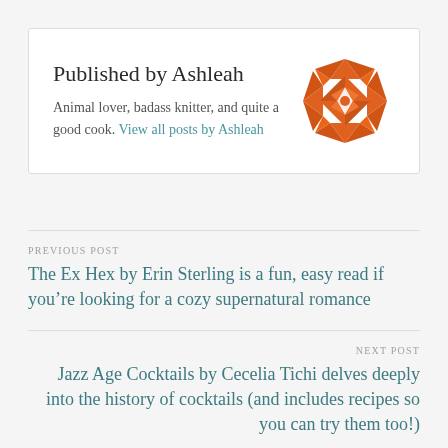Published by Ashleah
Animal lover, badass knitter, and quite a good cook. View all posts by Ashleah
[Figure (illustration): Orange decorative geometric quilt/snowflake pattern logo]
PREVIOUS POST
The Ex Hex by Erin Sterling is a fun, easy read if you’re looking for a cozy supernatural romance
NEXT POST
Jazz Age Cocktails by Cecelia Tichi delves deeply into the history of cocktails (and includes recipes so you can try them too!)